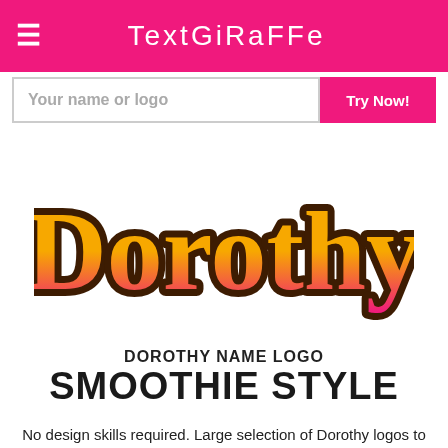TextGiraffe
Your name or logo | Try Now!
[Figure (logo): Dorothy name logo in Smoothie style — bold cursive script with orange-to-pink gradient fill and dark brown outline]
DOROTHY NAME LOGO SMOOTHIE STYLE
No design skills required. Large selection of Dorothy logos to choose from. Create amazing logos quick and easily.